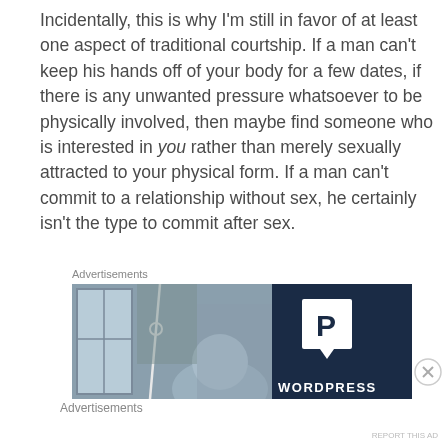Incidentally, this is why I'm still in favor of at least one aspect of traditional courtship.  If a man can't keep his hands off of your body for a few dates, if there is any unwanted pressure whatsoever to be physically involved, then maybe find someone who is interested in you rather than merely sexually attracted to your physical form.  If a man can't commit to a relationship without sex, he certainly isn't the type to commit after sex.
Advertisements
[Figure (screenshot): Advertisement banner showing a WordPress advertisement with a person visible on the left half and the WordPress 'P' logo on a dark navy background on the right half, with 'WORDPRESS' text at the bottom right.]
Advertisements